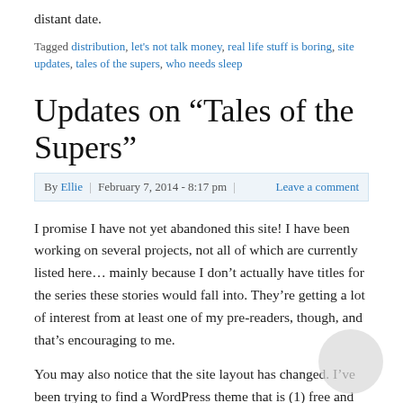distant date.
Tagged distribution, let's not talk money, real life stuff is boring, site updates, tales of the supers, who needs sleep
Updates on “Tales of the Supers”
By Ellie | February 7, 2014 - 8:17 pm | Leave a comment
I promise I have not yet abandoned this site! I have been working on several projects, not all of which are currently listed here… mainly because I don’t actually have titles for the series these stories would fall into. They’re getting a lot of interest from at least one of my pre-readers, though, and that’s encouraging to me.
You may also notice that the site layout has changed. I’ve been trying to find a WordPress theme that is (1) free and (2) appropriate for an author and (3) appropriate for the sort of things this author writes. For now, I like this one, but I have a few others I’m fond of and may eventually play with.
But I have promised an update on Tales of the Supers. Somewhere back in October, I mentioned that I had been working on edits. The external hard drive that had my most recent copy of the edits crashed and burned, taking with it all